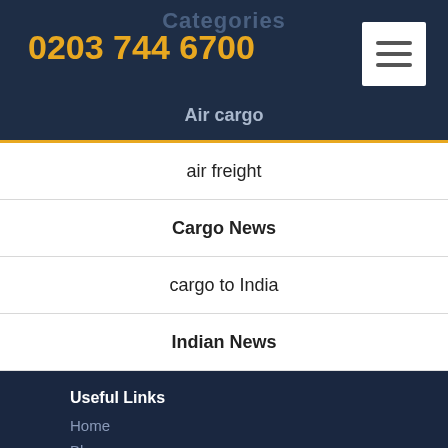0203 744 6700
Categories
Air cargo
air freight
Cargo News
cargo to India
Indian News
Useful Links
Home
Blog
About Us
Contact Us
Popular Services